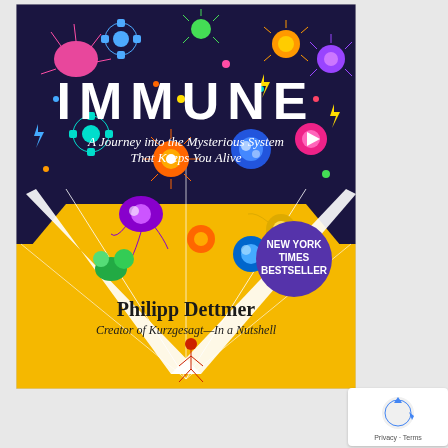[Figure (illustration): Book cover of 'IMMUNE: A Journey into the Mysterious System That Keeps You Alive' by Philipp Dettmer, Creator of Kurzgesagt—In a Nutshell. The cover features colorful illustrated immune cells and microorganisms on a dark navy upper half transitioning to a bright yellow/orange lower half, with a triangular white explosion of color in the center. A purple circle badge reads 'NEW YORK TIMES BESTSELLER'. At the bottom, a small red figure of a person stands beneath the burst of color. Below the illustration: author name 'Philipp Dettmer' and subtitle 'Creator of Kurzgesagt—In a Nutshell'.]
[Figure (logo): Google reCAPTCHA widget showing the reCAPTCHA logo (circular arrows icon in blue) with text 'Privacy · Terms' below.]